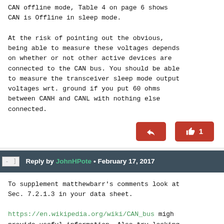CAN offline mode, Table 4 on page 6 shows CAN is Offline in sleep mode.

At the risk of pointing out the obvious, being able to measure these voltages depends on whether or not other active devices are connected to the CAN bus. You should be able to measure the transceiver sleep mode output voltages wrt. ground if you put 60 ohms between CANH and CANL with nothing else connected.
Reply by JohnHPote • February 17, 2017
To supplement matthewbarr's comments look at Sec. 7.2.1.3 in your data sheet.

https://en.wikipedia.org/wiki/CAN_bus migh provide useful information. Also try looking to find out
Loading [Contrib]/a11y/accessibility-menu.js